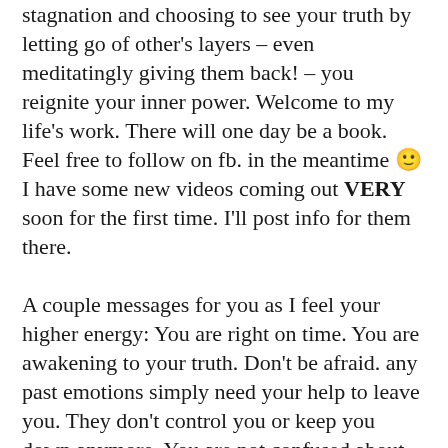stagnation and choosing to see your truth by letting go of other's layers – even meditatingly giving them back! – you reignite your inner power. Welcome to my life's work. There will one day be a book. Feel free to follow on fb. in the meantime 🙂 I have some new videos coming out VERY soon for the first time. I'll post info for them there.
A couple messages for you as I feel your higher energy: You are right on time. You are awakening to your truth. Don't be afraid. any past emotions simply need your help to leave you. They don't control you or keep you down anymore. You are not confused about your feelings. You know where they come from and who put them there. this is okay. And it was never your fault. You are your own self nurturer now. And you have everything you need inside of you. You will see that you are guided to your inner peace, daily. Let go of the inner struggle. Trust. Let Go. Be guided. Trust. Let Go. Be Guided. Trust. In